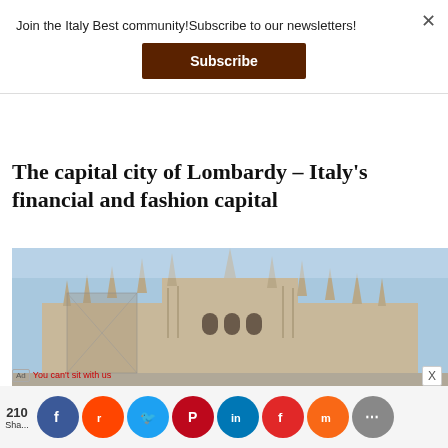Join the Italy Best community!Subscribe to our newsletters!
Subscribe
The capital city of Lombardy – Italy's financial and fashion capital
[Figure (photo): Photo of the Milan Cathedral (Duomo di Milano) with Gothic spires against a light blue sky]
210 shar...
Social sharing icons: Facebook, Reddit, Twitter, Pinterest, LinkedIn, Flipboard, Mix, More